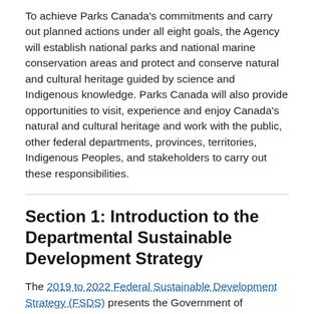To achieve Parks Canada's commitments and carry out planned actions under all eight goals, the Agency will establish national parks and national marine conservation areas and protect and conserve natural and cultural heritage guided by science and Indigenous knowledge. Parks Canada will also provide opportunities to visit, experience and enjoy Canada's natural and cultural heritage and work with the public, other federal departments, provinces, territories, Indigenous Peoples, and stakeholders to carry out these responsibilities.
Section 1: Introduction to the Departmental Sustainable Development Strategy
The 2019 to 2022 Federal Sustainable Development Strategy (FSDS) presents the Government of Canada's sustainable development goals and targets, as required by the Federal Sustainable Development Act. In keeping with